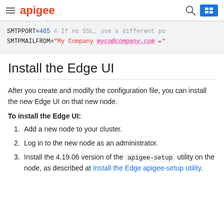apigee
SMTPPORT=465      # If no SSL, use a different po
SMTPMAILFROM="My Company myco@company.com "
Install the Edge UI
After you create and modify the configuration file, you can install the new Edge UI on that new node.
To install the Edge UI:
1. Add a new node to your cluster.
2. Log in to the new node as an administrator.
3. Install the 4.19.06 version of the apigee-setup utility on the node, as described at Install the Edge apigee-setup utility.